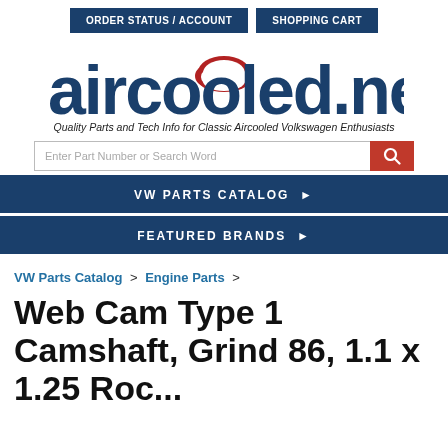ORDER STATUS / ACCOUNT   SHOPPING CART
[Figure (logo): aircooled.net logo with red cloud graphic above the two o's in aircooled, dark navy blue text]
Quality Parts and Tech Info for Classic Aircooled Volkswagen Enthusiasts
Enter Part Number or Search Word
VW PARTS CATALOG ▶
FEATURED BRANDS ▶
VW Parts Catalog > Engine Parts >
Web Cam Type 1 Camshaft, Grind 86, 1.1 x 1.25 Rockers, 30.622...